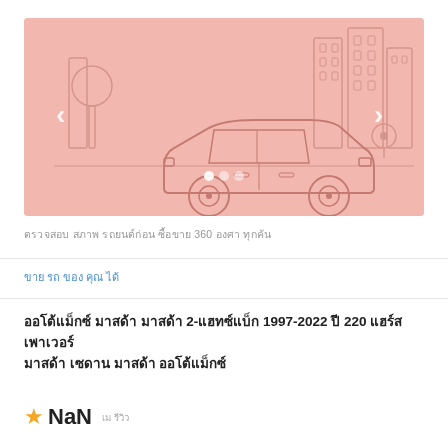[Figure (illustration): Pink/salmon-colored banner showing a cartoon car illustration with city buildings in the background. Left and right navigation arrows are visible on the sides. Navigation dots appear at the bottom center.]
ตรวจสอบ สภาพ รถยนต์ก่อน ซื้อขาย 360 องศา ทุกคัน
ขาย รถ ของ คุณ ได้
ออโต้แม็กซ์ มาสด้า มาสด้า 2-แฮทซ์แบ็ก 1997-2022 ปี 220 แฮร์สเพาเวอร์ มาสด้า เซดาน มาสด้า ออโต้แม็กซ์
★ NaN   เม รีวิว